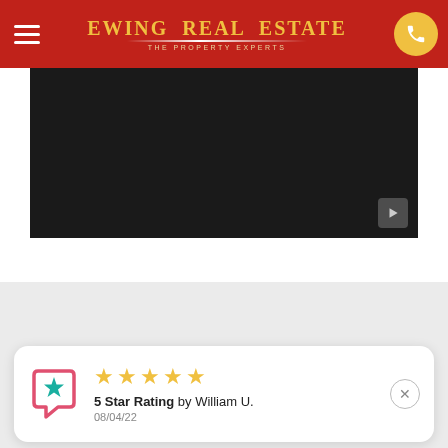Ewing Real Estate — The Property Experts
[Figure (screenshot): Dark/black video player area with a play button in the bottom right corner]
[Figure (infographic): Review notification card showing 5 star rating by William U. on 08/04/22, with a teal chat/review icon on the left and gold stars displayed]